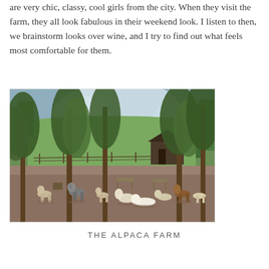are very chic, classy, cool girls from the city. When they visit the farm, they all look fabulous in their weekend look. I listen to then, we brainstorm looks over wine, and I try to find out what feels most comfortable for them.
[Figure (photo): Outdoor farm scene with alpacas grazing in a dirt yard, surrounded by tall trees. A barn structure is visible in the background, with green fields and a partly cloudy sky.]
THE ALPACA FARM